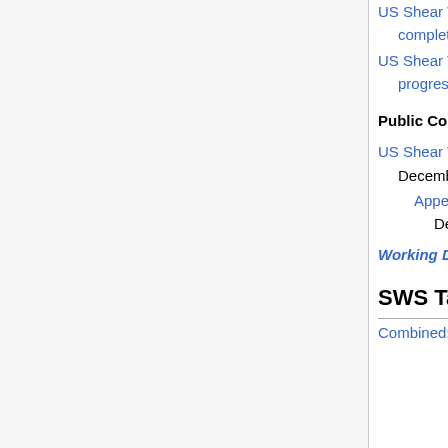US Shear Wave Speed for Liver Fibrosis 2021-01-29 - revisions complete
US Shear Wave Speed for Liver Fibrosis 2021-01-29 - revisions in progress
Public Comment:
US Shear Wave Speed for Liver Fibrosis 2019-10-21 (closed on December 18, 2019)
Appendix E: SWS Checklists, 2019-10-21 (closed on December 18, 2019)
Working Documents Archive
SWS Task Forces
Combined: System Dependencies & Phantom